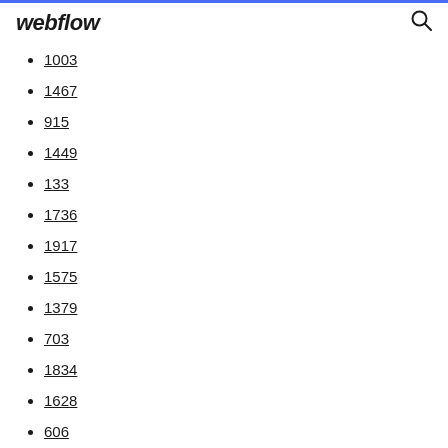webflow
1003
1467
915
1449
133
1736
1917
1575
1379
703
1834
1628
606